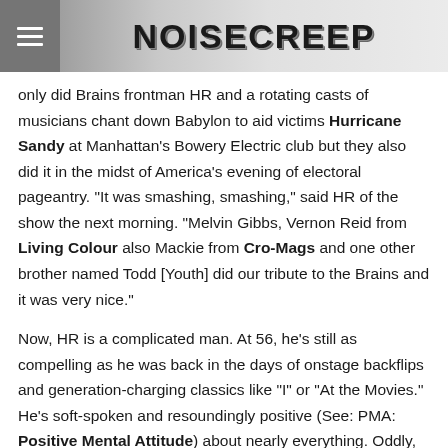NOISECREEP
only did Brains frontman HR and a rotating casts of musicians chant down Babylon to aid victims Hurricane Sandy at Manhattan's Bowery Electric club but they also did it in the midst of America's evening of electoral pageantry. "It was smashing, smashing," said HR of the show the next morning. "Melvin Gibbs, Vernon Reid from Living Colour also Mackie from Cro-Mags and one other brother named Todd [Youth] did our tribute to the Brains and it was very nice."
Now, HR is a complicated man. At 56, he's still as compelling as he was back in the days of onstage backflips and generation-charging classics like "I" or "At the Movies." He's soft-spoken and resoundingly positive (See: PMA: Positive Mental Attitude) about nearly everything. Oddly, his voice often (and inexplicably) turns into an English drawl.